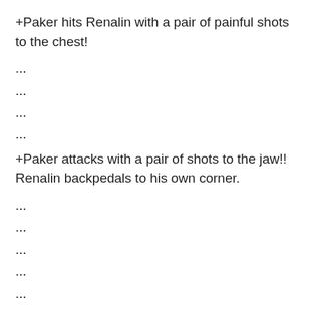+Paker hits Renalin with a pair of painful shots to the chest!
...
...
...
...
+Paker attacks with a pair of shots to the jaw!! Renalin backpedals to his own corner.
...
...
...
...
...
...
...
...
...
...
Renalin launches a series of left blows to the head, but